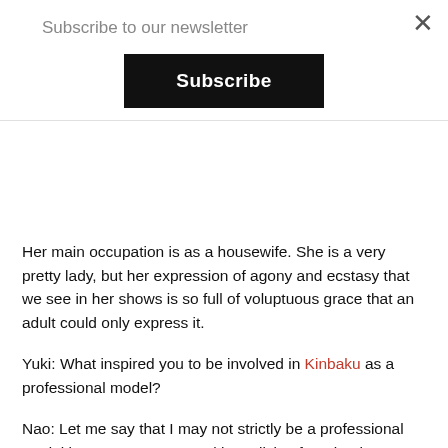Subscribe to our newsletter
Her main occupation is as a housewife. She is a very pretty lady, but her expression of agony and ecstasy that we see in her shows is so full of voluptuous grace that an adult could only express it.
Yuki: What inspired you to be involved in Kinbaku as a professional model?
Nao: Let me say that I may not strictly be a professional model because I am not making a living from it. The reason that made me want to appear on DVDs and in shows and to get a performance fee is that I met a person incidentally at a rope gathering. He had been attending SM events for more than 30 years. When he took me to a certain salon, a professional Bakushi asked me to do an appearance. It was merely as a result of a chance meeting, and I